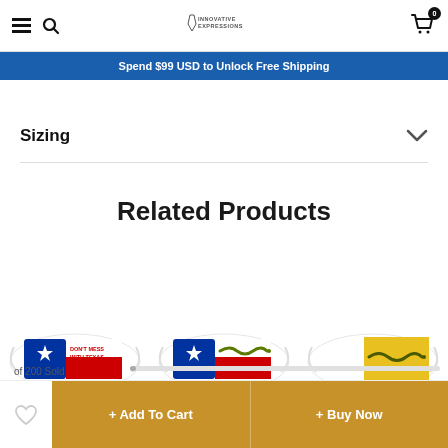Innovative Expressions — navigation header with hamburger, search, logo, cart (0)
Spend $99 USD to Unlock Free Shipping
Sizing
Related Products
[Figure (photo): Three face mask product thumbnails: Don't Mess With Texas flag mask, Texas flag with snake mask, and Gadsden yellow flag mask]
of 200 Sold
+ Add To Cart
+ Buy Now